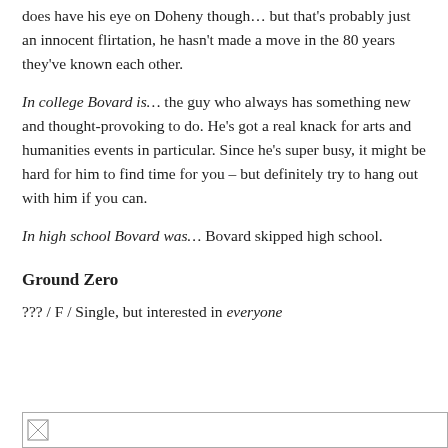does have his eye on Doheny though… but that's probably just an innocent flirtation, he hasn't made a move in the 80 years they've known each other.
In college Bovard is… the guy who always has something new and thought-provoking to do. He's got a real knack for arts and humanities events in particular. Since he's super busy, it might be hard for him to find time for you – but definitely try to hang out with him if you can.
In high school Bovard was… Bovard skipped high school.
Ground Zero
??? / F / Single, but interested in everyone
[Figure (photo): Broken image placeholder at the bottom of the page]